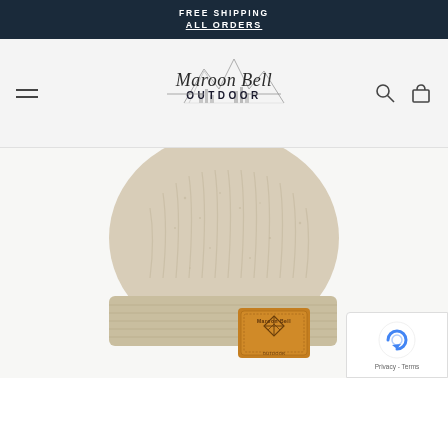FREE SHIPPING
ALL ORDERS
[Figure (logo): Maroon Bell Outdoor logo with mountain illustration and cursive/serif text]
[Figure (photo): Cable-knit beanie hat in oatmeal/cream speckled color with a tan leather Maroon Bell Outdoor patch label on the cuff, displayed on white background]
[Figure (other): Google reCAPTCHA badge with 'Privacy - Terms' text]